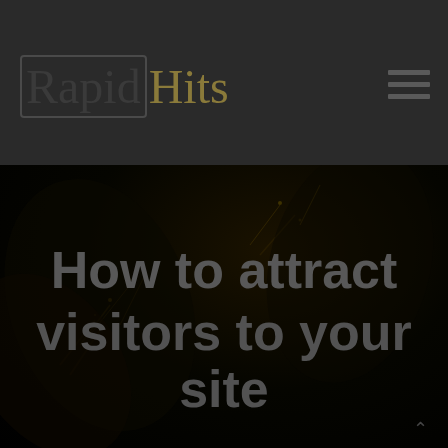RapidHits
How to attract visitors to your site